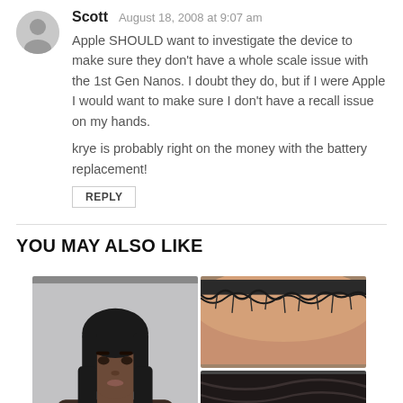Scott  August 18, 2008 at 9:07 am
Apple SHOULD want to investigate the device to make sure they don't have a whole scale issue with the 1st Gen Nanos. I doubt they do, but if I were Apple I would want to make sure I don't have a recall issue on my hands.
krye is probably right on the money with the battery replacement!
REPLY
YOU MAY ALSO LIKE
[Figure (photo): Two photos side by side: left shows a young woman with long straight black hair against a grey background; right column shows two close-up photos of hair at a hairline/scalp, showing edge styling.]